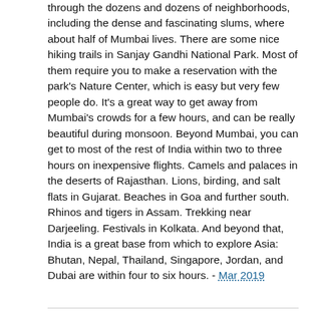through the dozens and dozens of neighborhoods, including the dense and fascinating slums, where about half of Mumbai lives. There are some nice hiking trails in Sanjay Gandhi National Park. Most of them require you to make a reservation with the park's Nature Center, which is easy but very few people do. It's a great way to get away from Mumbai's crowds for a few hours, and can be really beautiful during monsoon. Beyond Mumbai, you can get to most of the rest of India within two to three hours on inexpensive flights. Camels and palaces in the deserts of Rajasthan. Lions, birding, and salt flats in Gujarat. Beaches in Goa and further south. Rhinos and tigers in Assam. Trekking near Darjeeling. Festivals in Kolkata. And beyond that, India is a great base from which to explore Asia: Bhutan, Nepal, Thailand, Singapore, Jordan, and Dubai are within four to six hours. - Mar 2019